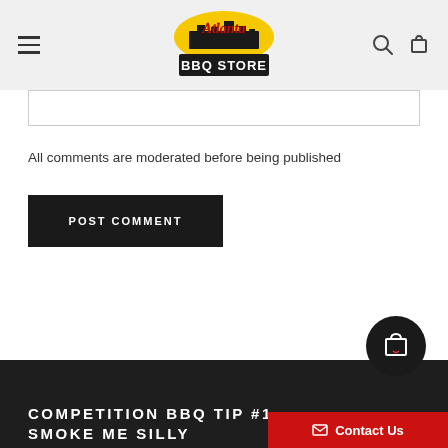Atlanta BBQ Store – navigation header with hamburger menu, logo, search and cart icons
All comments are moderated before being published
POST COMMENT
COMPETITION BBQ TIP #1 – SMOKE ME SILLY